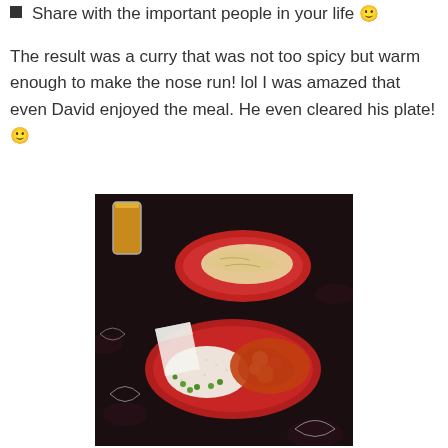Share with the important people in your life 🙂
The result was a curry that was not too spicy but warm enough to make the nose run! lol I was amazed that even David enjoyed the meal. He even cleared his plate! 🙂
[Figure (photo): Photo of two red plates on a dark floral tablecloth. The front plate has rice with peas and a curry dish. The back plate has naan bread. A glass of orange juice is visible in the background.]